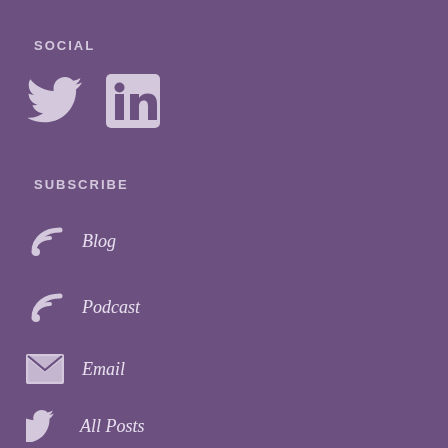SOCIAL
[Figure (illustration): Twitter bird icon (white) and LinkedIn square icon (white on rounded square)]
SUBSCRIBE
Blog
Podcast
Email
All Posts